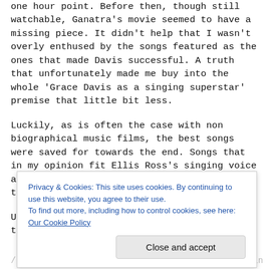one hour point. Before then, though still watchable, Ganatra's movie seemed to have a missing piece. It didn't help that I wasn't overly enthused by the songs featured as the ones that made Davis successful. A truth that unfortunately made me buy into the whole 'Grace Davis as a singing superstar' premise that little bit less.
Luckily, as is often the case with non biographical music films, the best songs were saved for towards the end. Songs that in my opinion fit Ellis Ross's singing voice and or my music tastes that much more than the earlier ones.
Unexpectedly, the singing I ended up enjoyed the most in
Privacy & Cookies: This site uses cookies. By continuing to use this website, you agree to their use.
To find out more, including how to control cookies, see here: Our Cookie Policy
Close and accept
... the whole dancer. enjoyed the performances in